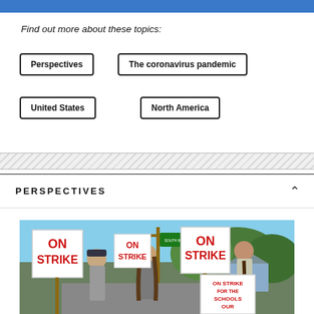[Figure (other): Blue header bar at top of page]
Find out more about these topics:
Perspectives
The coronavirus pandemic
United States
North America
PERSPECTIVES
[Figure (photo): People on strike holding ON STRIKE signs on a street, with trees and buildings in the background. One sign reads ON STRIKE FOR THE SCHOOLS OUR...]